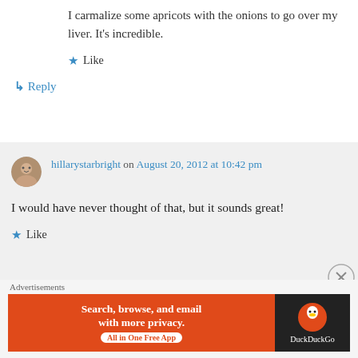I carmalize some apricots with the onions to go over my liver. It's incredible.
★ Like
↳ Reply
hillarystarbright on August 20, 2012 at 10:42 pm
I would have never thought of that, but it sounds great!
★ Like
Advertisements
[Figure (screenshot): DuckDuckGo advertisement banner: 'Search, browse, and email with more privacy. All in One Free App' with DuckDuckGo logo on dark background.]